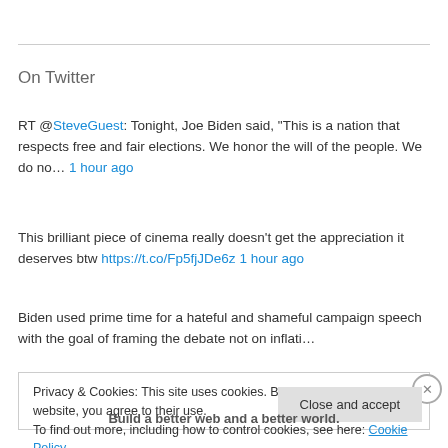On Twitter
RT @SteveGuest: Tonight, Joe Biden said, "This is a nation that respects free and fair elections. We honor the will of the people. We do no… 1 hour ago
This brilliant piece of cinema really doesn't get the appreciation it deserves btw https://t.co/Fp5fjJDe6z 1 hour ago
Biden used prime time for a hateful and shameful campaign speech with the goal of framing the debate not on inflati…
Privacy & Cookies: This site uses cookies. By continuing to use this website, you agree to their use.
To find out more, including how to control cookies, see here: Cookie Policy
Close and accept
Build a better web and a better world.